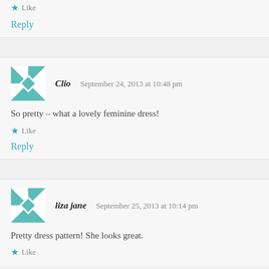Like
Reply
Clio  September 24, 2013 at 10:48 pm
So pretty – what a lovely feminine dress!
Like
Reply
liza jane  September 25, 2013 at 10:14 pm
Pretty dress pattern! She looks great.
Like